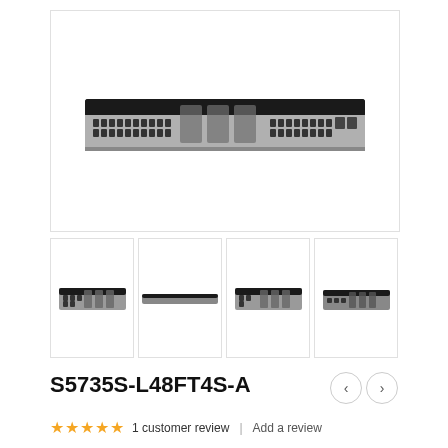[Figure (photo): Main product image of Huawei S5735S-L48FT4S-A network switch, front view showing ports and panel]
[Figure (photo): Thumbnail 1: front-angle view of Huawei network switch]
[Figure (photo): Thumbnail 2: side/slim view of Huawei network switch]
[Figure (photo): Thumbnail 3: front-angle view of Huawei network switch slightly different angle]
[Figure (photo): Thumbnail 4: angled top-front view of Huawei network switch]
S5735S-L48FT4S-A
1 customer review | Add a review